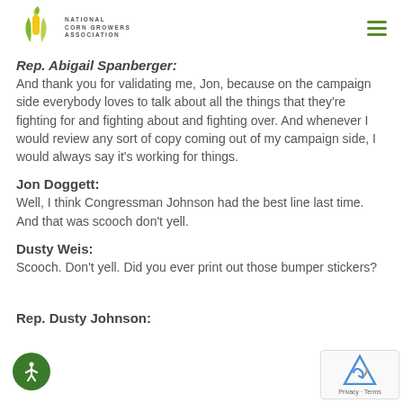National Corn Growers Association
Rep. Abigail Spanberger:
And thank you for validating me, Jon, because on the campaign side everybody loves to talk about all the things that they're fighting for and fighting about and fighting over. And whenever I would review any sort of copy coming out of my campaign side, I would always say it's working for things.
Jon Doggett:
Well, I think Congressman Johnson had the best line last time. And that was scooch don't yell.
Dusty Weis:
Scooch. Don't yell. Did you ever print out those bumper stickers?
Rep. Dusty Johnson: